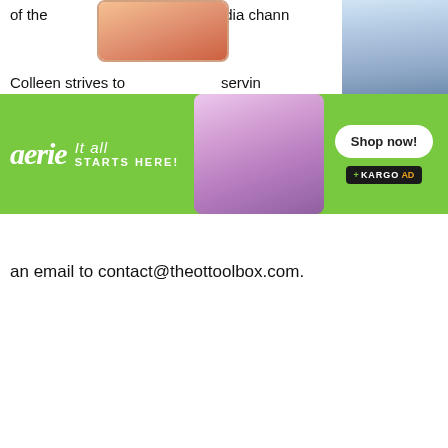of the social media chann
Colleen strives to servin
[Figure (photo): Aerie advertisement banner with green background, logo, 'It all STARTS HERE!' tagline, central photo of woman in lavender outfit, photo of blonde woman on right, and Shop now button with Kargo AD badge]
an email to contact@theottoolbox.com.